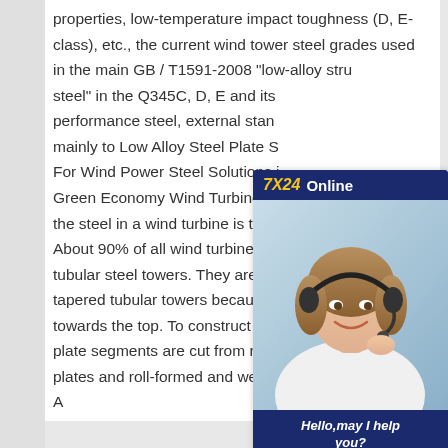properties, low-temperature impact toughness (D, E-class), etc., the current wind tower steel grades used in the main GB / T1591-2008 "low-alloy structural steel" in the Q345C, D, E and its performance steel, external standards mainly to Low Alloy Steel Plate S: For Wind Power Steel Solutions i Green Economy Wind TurbinesM the steel in a wind turbine is the t About 90% of all wind turbine tow tubular steel towers. They are cal tapered tubular towers because they gradually narrow towards the top. To construct a tower, fan-shaped plate segments are cut from rectangular parent steel plates and roll-formed and welded into cone sections. A
[Figure (other): Customer service chat widget showing '7X24 Online' header with a photo of a smiling woman wearing a headset, and a 'Hello, may I help you?' message with a 'Get Latest Price' button.]